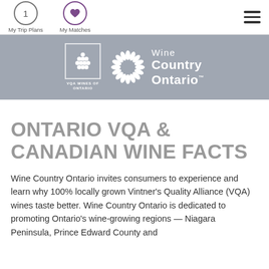My Trip Plans | My Matches
[Figure (logo): VQA Wines of Ontario logo and Wine Country Ontario logo on gray banner]
ONTARIO VQA & CANADIAN WINE FACTS
Wine Country Ontario invites consumers to experience and learn why 100% locally grown Vintner's Quality Alliance (VQA) wines taste better. Wine Country Ontario is dedicated to promoting Ontario's wine-growing regions — Niagara Peninsula, Prince Edward County and